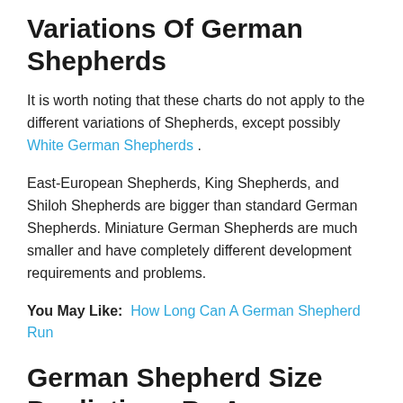Variations Of German Shepherds
It is worth noting that these charts do not apply to the different variations of Shepherds, except possibly White German Shepherds .
East-European Shepherds, King Shepherds, and Shiloh Shepherds are bigger than standard German Shepherds. Miniature German Shepherds are much smaller and have completely different development requirements and problems.
You May Like: How Long Can A German Shepherd Run
German Shepherd Size Predictions By Age